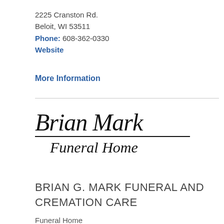2225 Cranston Rd.
Beloit, WI 53511
Phone: 608-362-0330
Website
More Information
[Figure (logo): Brian Mark Funeral Home logo with stylized italic script text 'Brian Mark' in large serif font with underline, and 'Funeral Home' in smaller italic script below]
BRIAN G. MARK FUNERAL AND CREMATION CARE
Funeral Home